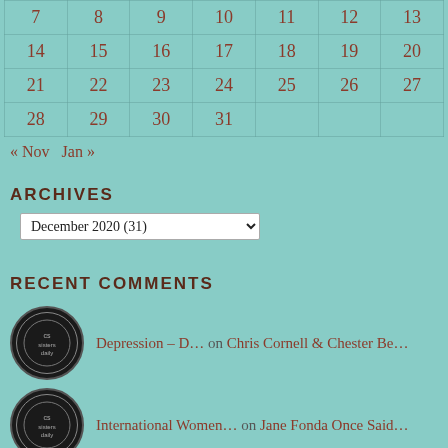| 7 | 8 | 9 | 10 | 11 | 12 | 13 |
| 14 | 15 | 16 | 17 | 18 | 19 | 20 |
| 21 | 22 | 23 | 24 | 25 | 26 | 27 |
| 28 | 29 | 30 | 31 |  |  |  |
« Nov  Jan »
ARCHIVES
December 2020  (31)
RECENT COMMENTS
Depression – D… on Chris Cornell & Chester Be…
International Women… on Jane Fonda Once Said…